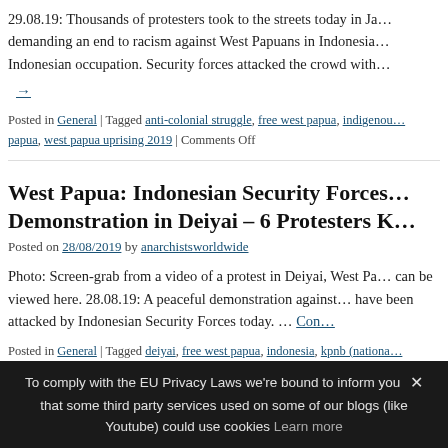29.08.19: Thousands of protesters took to the streets today in Ja… demanding an end to racism against West Papuans in Indonesia… Indonesian occupation. Security forces attacked the crowd with…
→
Posted in General | Tagged anti-colonial struggle, free west papua, indigenous… papua, west papua uprising 2019 | Comments Off
West Papua: Indonesian Security Forces… Demonstration in Deiyai – 6 Protesters K…
Posted on 28/08/2019 by anarchistsworldwide
Photo: Screen-grab from a video of a protest in Deiyai, West Pa… can be viewed here. 28.08.19: A peaceful demonstration against… have been attacked by Indonesian Security Forces today. … Con…
Posted in General | Tagged deiyai, free west papua, indonesia, kpnb (nationa…
To comply with the EU Privacy Laws we're bound to inform you that some third party services used on some of our blogs (like Youtube) could use cookies Learn more